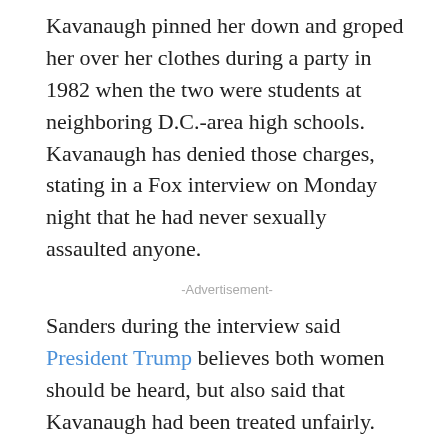Kavanaugh pinned her down and groped her over her clothes during a party in 1982 when the two were students at neighboring D.C.-area high schools. Kavanaugh has denied those charges, stating in a Fox interview on Monday night that he had never sexually assaulted anyone.
-Advertisement-
Sanders during the interview said President Trump believes both women should be heard, but also said that Kavanaugh had been treated unfairly.
“Last I heard in this country, you’re still innocent until proven guilty, except if you’re a conservative Republican,” she said.
“It is absolutely shameful what the Democrats have done and the way that they’ve turned this into a complete political process,” Sanders said. “Multiple lives have been ruined. Both families have been dragged through the mud when they didn’t